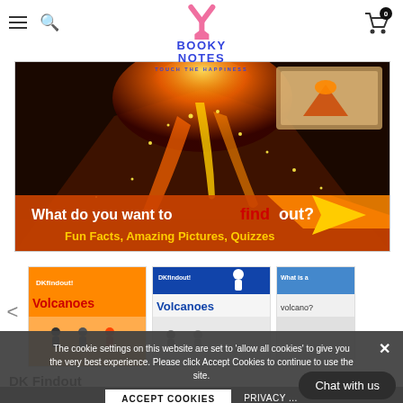Booky Notes — TOUCH THE HAPPINESS
[Figure (screenshot): Website banner for DK Findout showing volcano eruption with text 'What do you want to findout? Fun Facts, Amazing Pictures, Quizzes']
[Figure (photo): Product thumbnails: DK Findout Volcanoes books and other titles in a carousel]
DK Findout
The cookie settings on this website are set to 'allow all cookies' to give you the very best experience. Please click Accept Cookies to continue to use the site.
ACCEPT COOKIES
PRIVACY ...
Chat with us